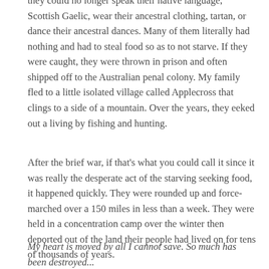they could no longer speak their native language, Scottish Gaelic, wear their ancestral clothing, tartan, or dance their ancestral dances. Many of them literally had nothing and had to steal food so as to not starve. If they were caught, they were thrown in prison and often shipped off to the Australian penal colony. My family fled to a little isolated village called Applecross that clings to a side of a mountain. Over the years, they eeked out a living by fishing and hunting.
After the brief war, if that's what you could call it since it was really the desperate act of the starving seeking food, it happened quickly. They were rounded up and force-marched over a 150 miles in less than a week. They were held in a concentration camp over the winter then deported out of the land their people had lived on for tens of thousands of years.
My heart is moved by all I cannot save. So much has been destroyed...